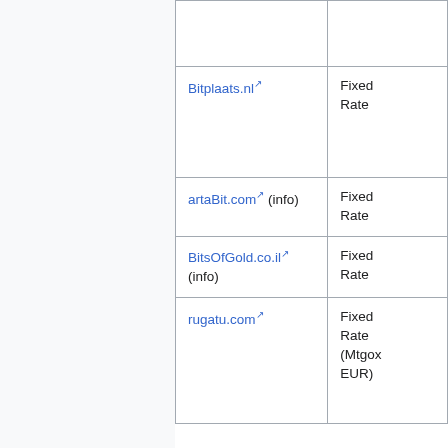| Service | Type |
| --- | --- |
| Bitplaats.nl [ext] | Fixed Rate |
| artaBit.com [ext] (info) | Fixed Rate |
| BitsOfGold.co.il [ext] (info) | Fixed Rate |
| rugatu.com [ext] | Fixed Rate (Mtgox EUR) |
Direct / Bulk Buying
| Service | Type | Payment Method |
| --- | --- | --- |